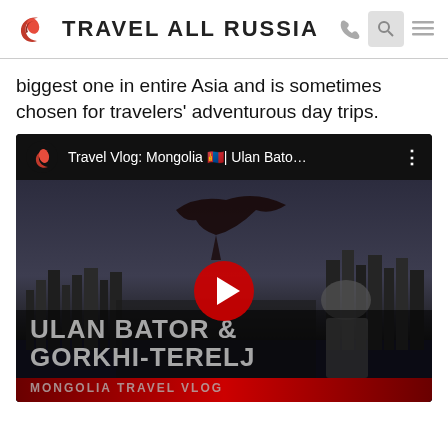TRAVEL ALL RUSSIA
biggest one in entire Asia and is sometimes chosen for travelers' adventurous day trips.
[Figure (screenshot): YouTube video thumbnail for 'Travel Vlog: Mongolia | Ulan Bato...' showing a man with an eagle over a cityscape of Ulan Bator. Overlay text: ULAN BATOR & GORKHI-TERELJ / MONGOLIA TRAVEL VLOG. Red YouTube play button in center.]